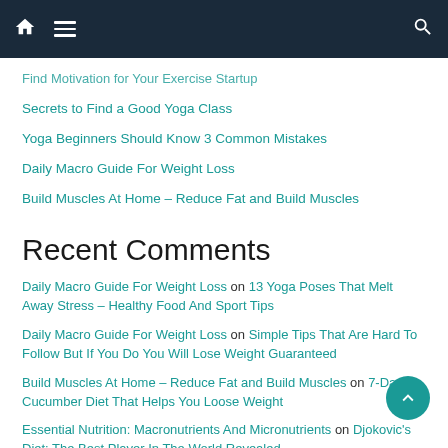[Navigation bar with home, menu, and search icons]
Find Motivation for Your Exercise Startup
Secrets to Find a Good Yoga Class
Yoga Beginners Should Know 3 Common Mistakes
Daily Macro Guide For Weight Loss
Build Muscles At Home – Reduce Fat and Build Muscles
Recent Comments
Daily Macro Guide For Weight Loss on 13 Yoga Poses That Melt Away Stress – Healthy Food And Sport Tips
Daily Macro Guide For Weight Loss on Simple Tips That Are Hard To Follow But If You Do You Will Lose Weight Guaranteed
Build Muscles At Home – Reduce Fat and Build Muscles on 7-Day Cucumber Diet That Helps You Loose Weight
Essential Nutrition: Macronutrients And Micronutrients on Djokovic's Diet: The Best Player In The World Revealed
12 Tips To Activate Crazy Weight Loss Fast And Effectivel...